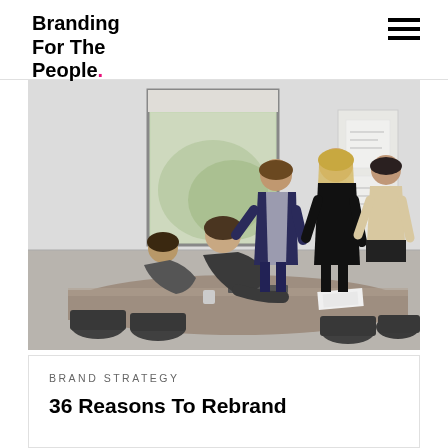Branding For The People.
[Figure (photo): Office meeting scene with several people around a conference table; one person standing presenting near a whiteboard, others seated working on a laptop.]
BRAND STRATEGY
36 Reasons To Rebrand